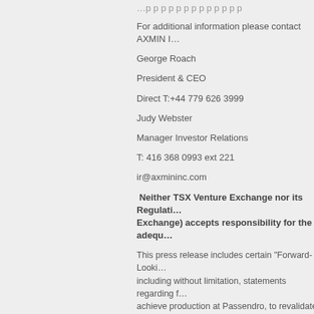For additional information please contact AXMIN I…
George Roach
President & CEO
Direct T:+44 779 626 3999
Judy Webster
Manager Investor Relations
T: 416 368 0993 ext 221
ir@axmininc.com
Neither TSX Venture Exchange nor its Regulati… Exchange) accepts responsibility for the adeq…
This press release includes certain "Forward-Looki… including without limitation, statements regarding f… achieve production at Passendro, to revalidate the… statements that involve various risks and uncertain…
There can be no assurance that such statements w… anticipated in such statements. Important factors t… disclosed under the heading "Risk Factors" and els… other regulatory authorities. AXMIN disclaims any… new information, future events or otherwise, excep…